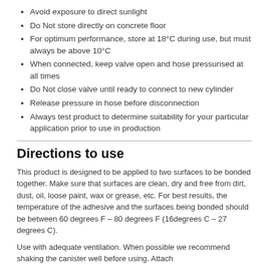Avoid exposure to direct sunlight
Do Not store directly on concrete floor
For optimum performance, store at 18°C during use, but must always be above 10°C
When connected, keep valve open and hose pressurised at all times
Do Not close valve until ready to connect to new cylinder
Release pressure in hose before disconnection
Always test product to determine suitability for your particular application prior to use in production
Directions to use
This product is designed to be applied to two surfaces to be bonded together. Make sure that surfaces are clean, dry and free from dirt, dust, oil, loose paint, wax or grease, etc. For best results, the temperature of the adhesive and the surfaces being bonded should be between 60 degrees F – 80 degrees F (16degrees C – 27 degrees C).
Use with adequate ventilation. When possible we recommend shaking the canister well before using. Attach